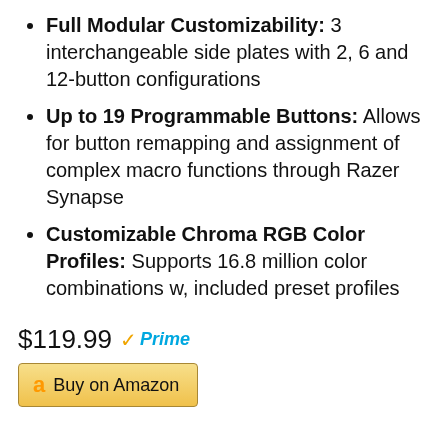Full Modular Customizability: 3 interchangeable side plates with 2, 6 and 12-button configurations
Up to 19 Programmable Buttons: Allows for button remapping and assignment of complex macro functions through Razer Synapse
Customizable Chroma RGB Color Profiles: Supports 16.8 million color combinations w, included preset profiles
$119.99 Prime
Buy on Amazon